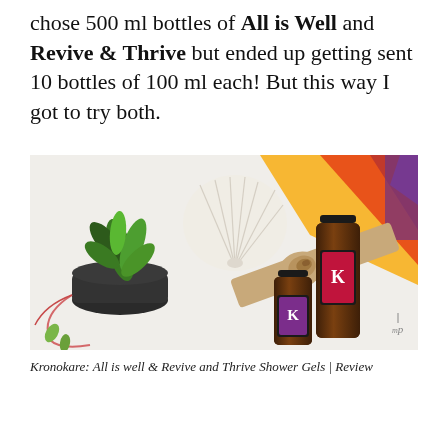chose 500 ml bottles of All is Well and Revive & Thrive but ended up getting sent 10 bottles of 100 ml each! But this way I got to try both.
[Figure (photo): Flat lay photo on white surface showing two Kronokare shower gel bottles (one larger brown bottle and one smaller purple bottle, both with black caps and K logo labels), a succulent plant in a dark pot, a white seashell, a spiral shell, and colorful fabric/book in upper right corner. A watermark 'p' logo appears in the lower right of the photo.]
Kronokare: All is well & Revive and Thrive Shower Gels | Review